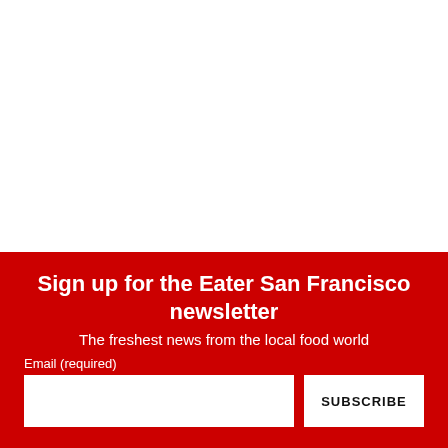[Figure (other): White blank area at top of page]
Sign up for the Eater San Francisco newsletter
The freshest news from the local food world
Email (required)